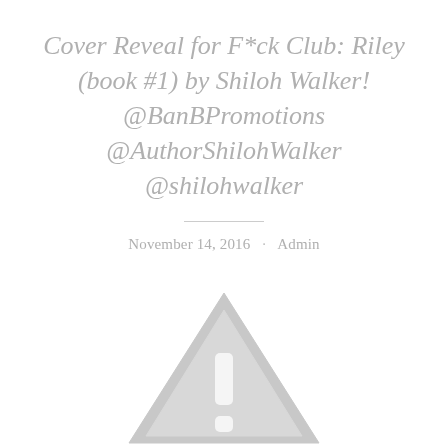Cover Reveal for F*ck Club: Riley (book #1) by Shiloh Walker! @BanBPromotions @AuthorShilohWalker @shilohwalker
November 14, 2016 · Admin
[Figure (illustration): Partial view of a grayscale warning/caution triangle icon with an exclamation mark symbol, cut off at the bottom of the page]